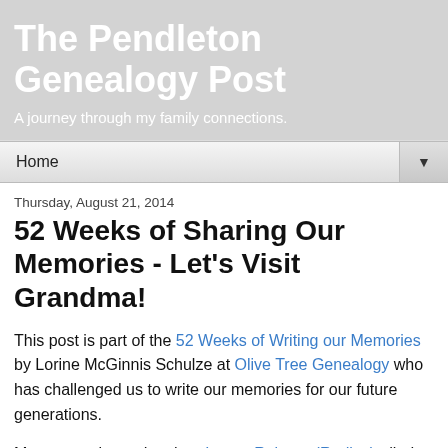The Pendleton Genealogy Post
A journey through my family connections.
Home
Thursday, August 21, 2014
52 Weeks of Sharing Our Memories - Let's Visit Grandma!
This post is part of the 52 Weeks of Writing our Memories by Lorine McGinnis Schulze at Olive Tree Genealogy who has challenged us to write our memories for our future generations.
My maternal grandmother, Leona Roberts (Redles), died from breast cancer on April 19, 1955, a few months after I